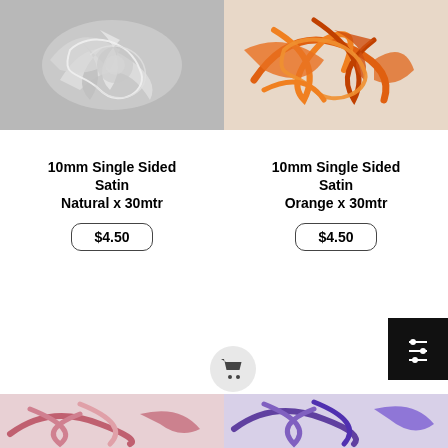[Figure (photo): White/natural satin ribbon curled into bows and loops on a light background]
[Figure (photo): Orange satin ribbon curled and looped on a white background]
10mm Single Sided Satin Natural x 30mtr
$4.50
10mm Single Sided Satin Orange x 30mtr
$4.50
[Figure (photo): Pink/mauve satin ribbon curled on white background]
[Figure (photo): Purple satin ribbon curled on white background]